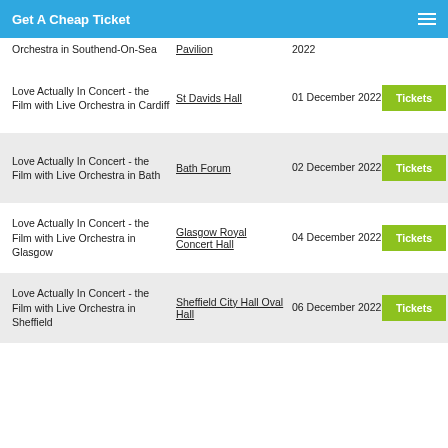Get A Cheap Ticket
Orchestra in Southend-On-Sea
Pavilion
2022
Love Actually In Concert - the Film with Live Orchestra in Cardiff
St Davids Hall
01 December 2022
Tickets
Love Actually In Concert - the Film with Live Orchestra in Bath
Bath Forum
02 December 2022
Tickets
Love Actually In Concert - the Film with Live Orchestra in Glasgow
Glasgow Royal Concert Hall
04 December 2022
Tickets
Love Actually In Concert - the Film with Live Orchestra in Sheffield
Sheffield City Hall Oval Hall
06 December 2022
Tickets